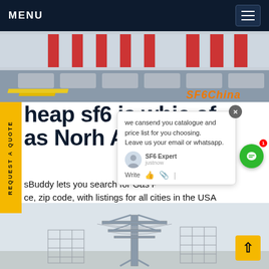MENU
[Figure (photo): Parking garage or transit facility with concrete barriers, yellow road markings, and red-accented windows. SF6China watermark visible in orange italic text.]
heap sf6 is which of as North America
sBuddy lets you search for Gas Price, zip code, with listings for all cities in the USA and Canada. Updated in real-time, with national average price for gasolineGet price
[Figure (screenshot): Chat popup overlay: 'we can send you catalogue and price list for you choosing. Leave us your email or whatsapp.' with SF6 Expert agent, just now, Write input bar with thumbs up and attachment icons. Green chat button with notification badge of 1.]
[Figure (photo): Electrical power transmission tower silhouette against a grey sky.]